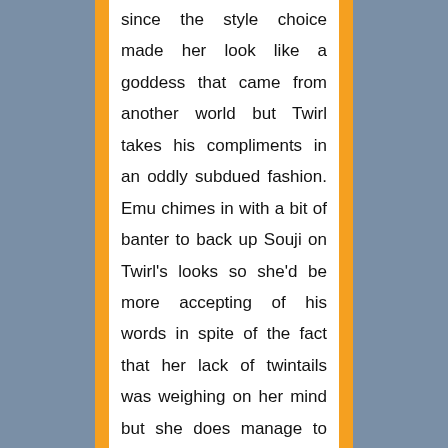since the style choice made her look like a goddess that came from another world but Twirl takes his compliments in an oddly subdued fashion. Emu chimes in with a bit of banter to back up Souji on Twirl's looks so she'd be more accepting of his words in spite of the fact that her lack of twintails was weighing on her mind but she does manage to cheer her up a bit.

>They also brought in the men's